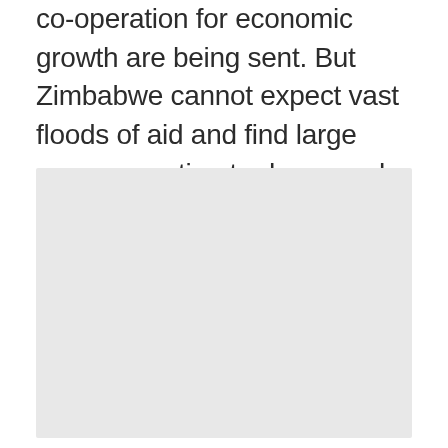co-operation for economic growth are being sent. But Zimbabwe cannot expect vast floods of aid and find large groups wanting to dump cash in the country. Times are tight almost everywhere.
[Figure (photo): A large light grey rectangular image placeholder occupying the lower portion of the page.]